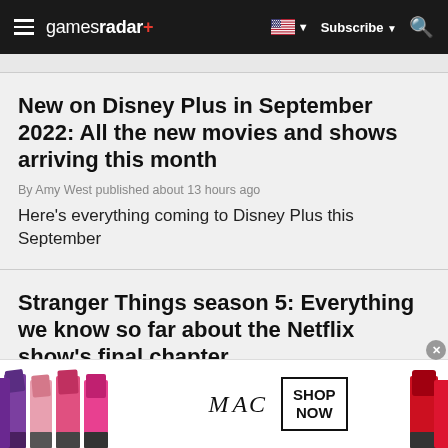gamesradar+ | Subscribe | Search
New on Disney Plus in September 2022: All the new movies and shows arriving this month
By Amy West published about 13 hours ago
Here's everything coming to Disney Plus this September
Stranger Things season 5: Everything we know so far about the Netflix show's final chapter
By Amy West published about 13 hours ago
[Figure (photo): MAC cosmetics advertisement showing colorful lipsticks with MAC logo and SHOP NOW button]